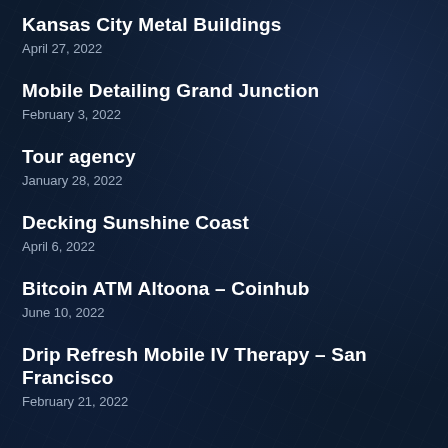Kansas City Metal Buildings
April 27, 2022
Mobile Detailing Grand Junction
February 3, 2022
Tour agency
January 28, 2022
Decking Sunshine Coast
April 6, 2022
Bitcoin ATM Altoona – Coinhub
June 10, 2022
Drip Refresh Mobile IV Therapy – San Francisco
February 21, 2022